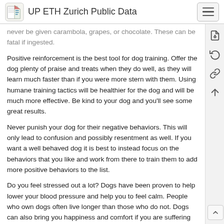UP ETH Zurich Public Data
never be given carambola, grapes, or chocolate. These can be fatal if ingested.
Positive reinforcement is the best tool for dog training. Offer the dog plenty of praise and treats when they do well, as they will learn much faster than if you were more stern with them. Using humane training tactics will be healthier for the dog and will be much more effective. Be kind to your dog and you'll see some great results.
Never punish your dog for their negative behaviors. This will only lead to confusion and possibly resentment as well. If you want a well behaved dog it is best to instead focus on the behaviors that you like and work from there to train them to add more positive behaviors to the list.
Do you feel stressed out a lot? Dogs have been proven to help lower your blood pressure and help you to feel calm. People who own dogs often live longer than those who do not. Dogs can also bring you happiness and comfort if you are suffering from an illness.
When choosing a vet for your dog, make sure that it is a